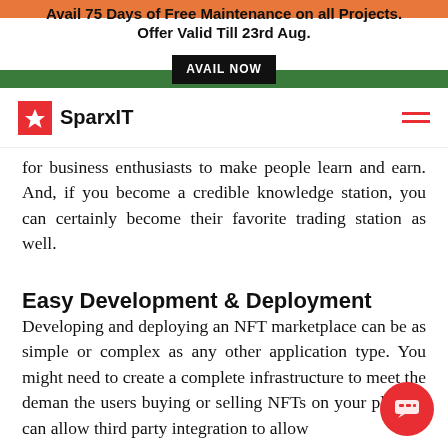Avail 75 Days of Free Maintenance on all Projects. Offer Valid Till 23rd Aug. AVAIL NOW
SparxIT
for business enthusiasts to make people learn and earn. And, if you become a credible knowledge station, you can certainly become their favorite trading station as well.
Easy Development & Deployment
Developing and deploying an NFT marketplace can be as simple or complex as any other application type. You might need to create a complete infrastructure to meet the demands of the users buying or selling NFTs on your platform. You can allow third party integration to allow…